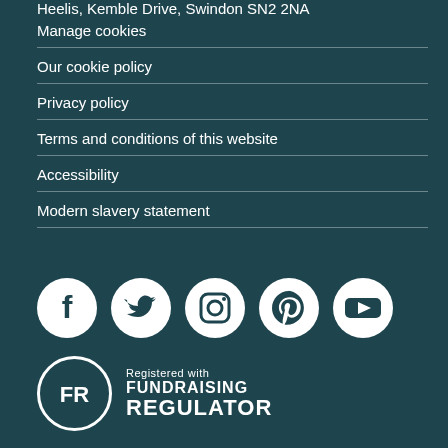Heelis, Kemble Drive, Swindon SN2 2NA
Manage cookies
Our cookie policy
Privacy policy
Terms and conditions of this website
Accessibility
Modern slavery statement
[Figure (illustration): Social media icons in white circles: Facebook, Twitter, Instagram, Pinterest, YouTube]
[Figure (logo): Fundraising Regulator logo with FR circle badge and text 'Registered with FUNDRAISING REGULATOR']